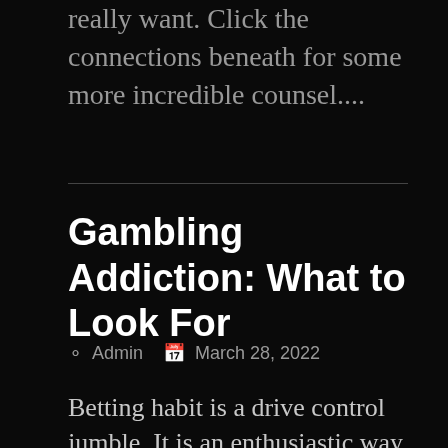really want. Click the connections beneath for some more incredible counsel....
Gambling Addiction: What to Look For
Admin   March 28, 2022
Betting habit is a drive control jumble. It is an enthusiastic way of behaving that the individual has let completely go over. A urgent